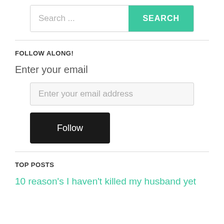[Figure (screenshot): Search bar with text input placeholder 'Search ...' and a teal SEARCH button]
FOLLOW ALONG!
Enter your email
[Figure (screenshot): Email address input field with placeholder 'Enter your email address']
[Figure (screenshot): Black Follow button]
TOP POSTS
10 reason's I haven't killed my husband yet